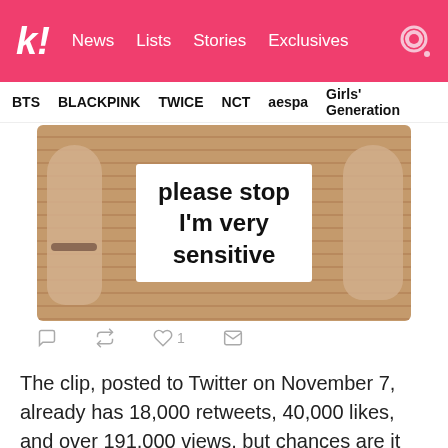k! News  Lists  Stories  Exclusives
BTS  BLACKPINK  TWICE  NCT  aespa  Girls' Generation
[Figure (screenshot): Tweet screenshot showing a person holding a sign that reads 'please stop I'm very sensitive', with Twitter action icons (reply, retweet, like with 1, message) below.]
The clip, posted to Twitter on November 7, already has 18,000 retweets, 40,000 likes, and over 191,000 views, but chances are it will gain even more soon.